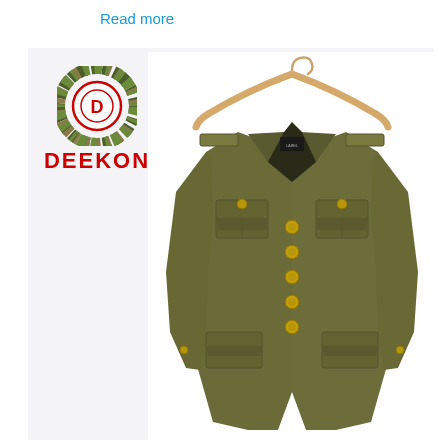Read more
[Figure (logo): DEEKON company logo with camouflage circular emblem and red D letter in center, with DEEKON text in red below]
[Figure (photo): Olive/khaki military dress uniform jacket with gold buttons, epaulettes, breast pockets with flaps, lower pockets, displayed on a wooden hanger against white background]